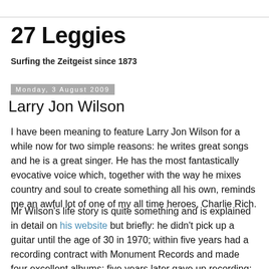27 Leggies
Surfing the Zeitgeist since 1873
Monday, 3 August 2009
Larry Jon Wilson
I have been meaning to feature Larry Jon Wilson for a while now for two simple reasons: he writes great songs and he is a great singer. He has the most fantastically evocative voice which, together with the way he mixes country and soul to create something all his own, reminds me an awful lot of one of my all time heroes, Charlie Rich.
Mr Wilson's life story is quite something and is explained in detail on his website but briefly: he didn't pick up a guitar until the age of 30 in 1970; within five years had a recording contract with Monument Records and made four excellent albums; five years later gave up recording; that was it until